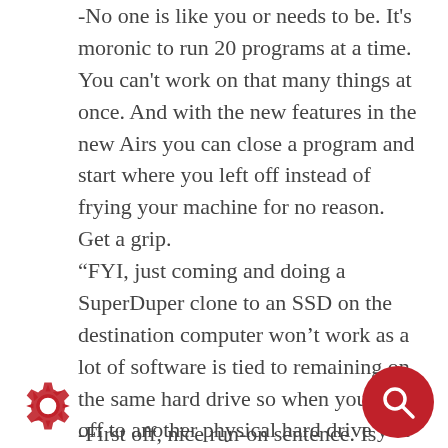-No one is like you or needs to be. It's moronic to run 20 programs at a time. You can't work on that many things at once. And with the new features in the new Airs you can close a program and start where you left off instead of frying your machine for no reason. Get a grip.
“FYI, just coming and doing a SuperDuper clone to an SSD on the destination computer won’t work as a lot of software is tied to remaining on the same hard drive so when you sync off to another physical hard drive you have to relicense the software each time. Too much trouble.”
-First off, nice run-on sentence. Is